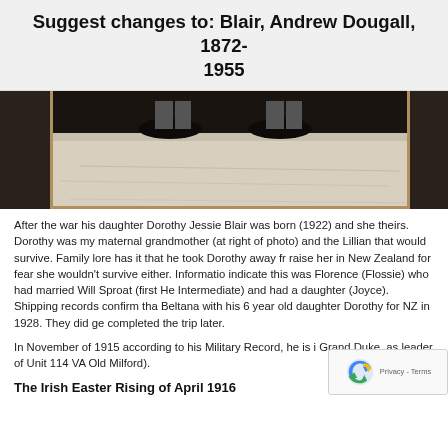Suggest changes to: Blair, Andrew Dougall, 1872-1955
[Figure (photo): Cropped bottom portion of an old sepia photograph showing the feet and legs of people seated, with a wooden floor and gold-bordered photo mat visible.]
After the war his daughter Dorothy Jessie Blair was born (1922) and she theirs. Dorothy was my maternal grandmother (at right of photo) and the Lillian that would survive. Family lore has it that he took Dorothy away fr raise her in New Zealand for fear she wouldn't survive either. Informatio indicate this was Florence (Flossie) who had married Will Sproat (first He Intermediate) and had a daughter (Joyce). Shipping records confirm tha Beltana with his 6 year old daughter Dorothy for NZ in 1928. They did ge completed the trip later.
In November of 1915 according to his Military Record, he is i Grand Duke, as leader of Unit 114 VA Old Milford).
The Irish Easter Rising of April 1916